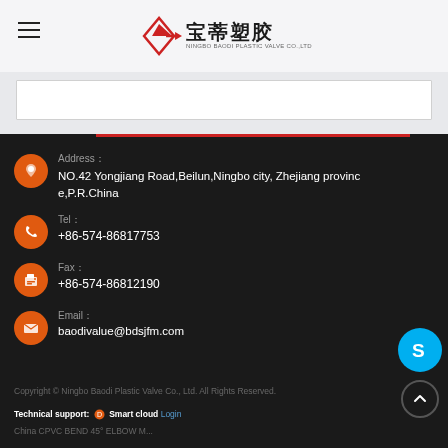宝蒂塑胶 (Ningbo Baodi Plastic Valve Co., Ltd.) logo and navigation
[Figure (logo): Company logo with red arrow/diamond icon and Chinese characters 宝蒂塑胶, subtext NINGBO BAODI PLASTIC VALVE CO.,LTD]
Address：
NO.42 Yongjiang Road,Beilun,Ningbo city, Zhejiang province,P.R.China
Tel：
+86-574-86817753
Fax：
+86-574-86812190
Email：
baodivalue@bdsjfm.com
Copyright © Ningbo Baodi Plastic Valve Co., Ltd. All Rights Reserved.
Technical support: Smart cloud Login
China CPVC BEND 45° ELBOW M...